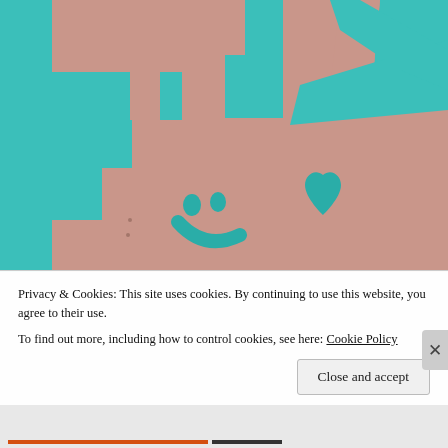[Figure (photo): A pink/salmon colored staircase wall with teal/turquoise painted decorative stripes and shapes. A teal smiley face and heart are painted on the lower portion of the wall.]
Privacy & Cookies: This site uses cookies. By continuing to use this website, you agree to their use.
To find out more, including how to control cookies, see here: Cookie Policy